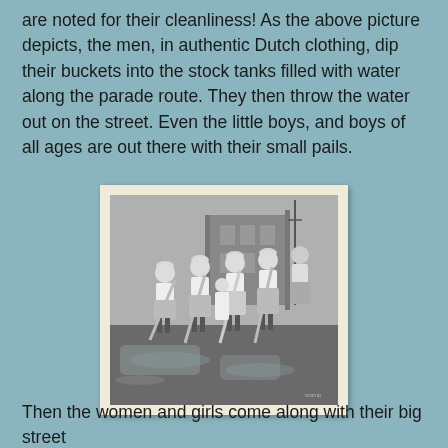are noted for their cleanliness! As the above picture depicts, the men, in authentic Dutch clothing, dip their buckets into the stock tanks filled with water along the parade route. They then throw the water out on the street. Even the little boys, and boys of all ages are out there with their small pails.
[Figure (photo): Black and white photograph of people in authentic Dutch clothing (women in white dresses and aprons with headdresses) scrubbing or washing a wet street during a parade, with buildings visible in the background.]
Then the women and girls come along with their big street